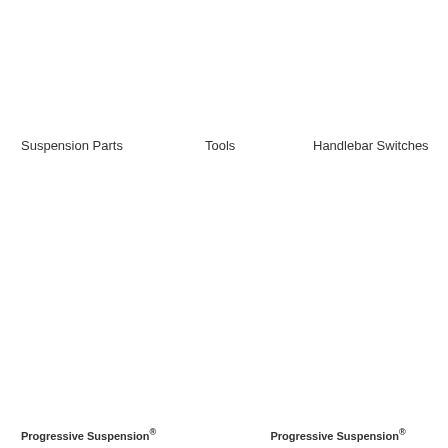Suspension Parts
Tools
Handlebar Switches
Progressive Suspension®    Progressive Suspension®